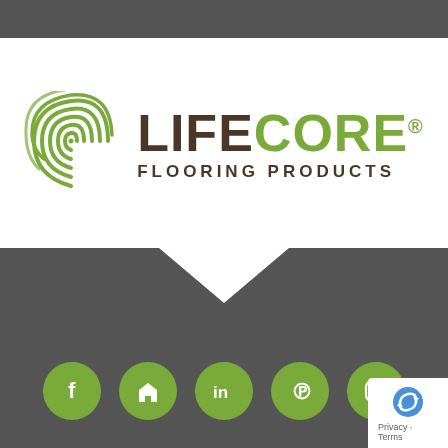[Figure (logo): Lifecore Flooring Products logo with fingerprint/leaf swirl icon and text LIFECORE FLOORING PRODUCTS]
[Figure (infographic): Five green circle social media icons: Facebook, Houzz, LinkedIn, Pinterest, Instagram on dark gray background with chevron arrow pointing down from white section above]